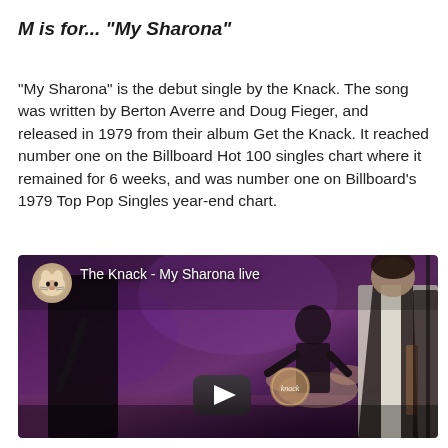M is for... "My Sharona"
"My Sharona" is the debut single by the Knack. The song was written by Berton Averre and Doug Fieger, and released in 1979 from their album Get the Knack. It reached number one on the Billboard Hot 100 singles chart where it remained for 6 weeks, and was number one on Billboard's 1979 Top Pop Singles year-end chart.
[Figure (screenshot): YouTube video thumbnail showing The Knack performing My Sharona live on stage. Three band members visible including guitarists and a drummer. Channel avatar (cat icon) visible top left. Video title 'The Knack - My Sharona live' shown in white text. Play button visible at bottom center.]